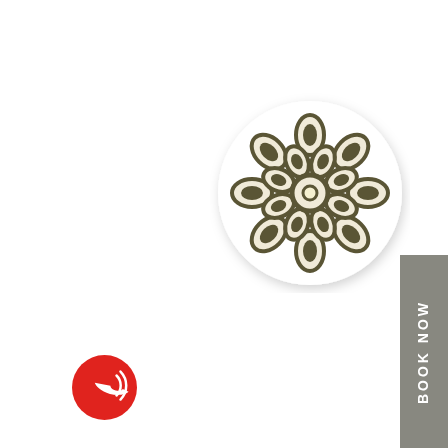[Figure (logo): A decorative mandala/flower logo inside a white circle with a light drop shadow, consisting of teardrop/petal shapes arranged radially around a central circle, rendered in olive/dark khaki color with cream fill]
[Figure (other): A vertical gray rectangle on the right side containing the text 'BOOK NOW' rotated 90 degrees (reading bottom to top), in white bold uppercase letters]
[Figure (other): A red circular button in the bottom-left area containing a white phone/call icon with signal waves]